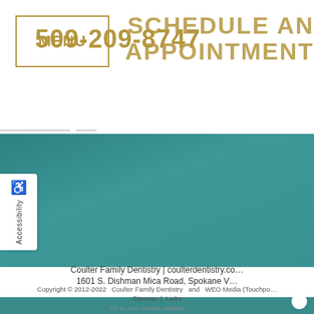MENU  509-209-8747  SCHEDULE AN APPOINTMENT
[Figure (screenshot): Teal hero/banner section of dental practice website]
Coulter Family Dentistry | coulterdentistry.co… 1601 S. Dishman Mica Road, Spokane V…
Copyright © 2012-2022   Coulter Family Dentistry   and   WEO Media (Touchpo… Sitemap  |  Links
Go to non-mobile website